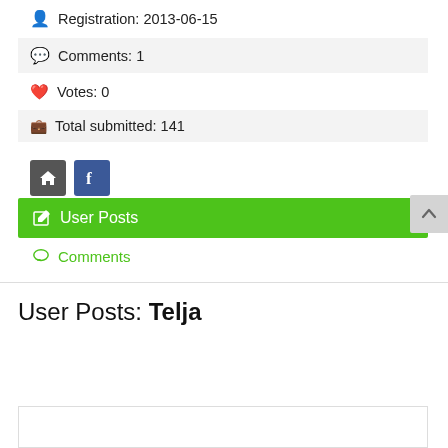Registration: 2013-06-15
Comments: 1
Votes: 0
Total submitted: 141
[Figure (screenshot): Social icon buttons: home icon (dark grey) and Facebook icon (blue)]
User Posts
Comments
User Posts: Telja